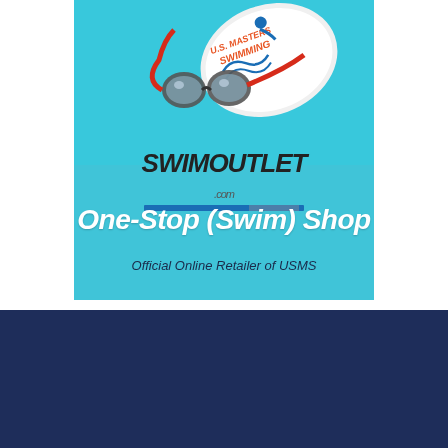[Figure (illustration): SwimOutlet.com advertisement: light blue background with swimming goggles and U.S. Masters Swimming branded swim cap. Text reads 'SwimOutlet.com', 'One-Stop (Swim) Shop', 'Official Online Retailer of USMS'.]
[Figure (logo): ACTIVE network logo in white on dark navy background (left side)]
[Figure (logo): Aquasphere logo with triangle icon in white on dark navy background (right side)]
[Figure (logo): Colorado Time Systems a PlayCore company logo in white on dark navy background (bottom left)]
[Figure (logo): FINIS logo in white italic on dark navy background (bottom right)]